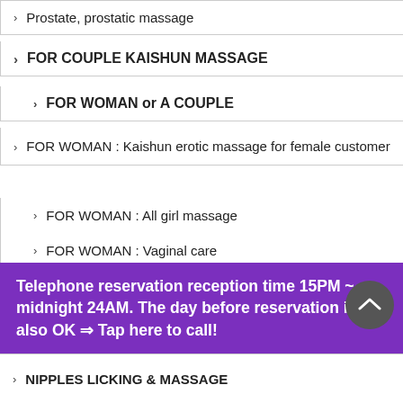> Prostate, prostatic massage
> FOR COUPLE KAISHUN MASSAGE
> FOR WOMAN or A COUPLE
> FOR WOMAN : Kaishun erotic massage for female customer
> FOR WOMAN : All girl massage
> FOR WOMAN : Vaginal care
● What is HENTAI?
> FACE SITTING
> FEET IN YOUR FACE
Telephone reservation reception time 15PM ~ midnight 24AM. The day before reservation is also OK ⇒ Tap here to call!
> NIPPLES LICKING & MASSAGE